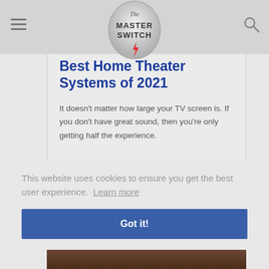The Master Switch
Best Home Theater Systems of 2021
It doesn't matter how large your TV screen is. If you don't have great sound, then you're only getting half the experience.
This website uses cookies to ensure you get the best user experience. Learn more
Got it!